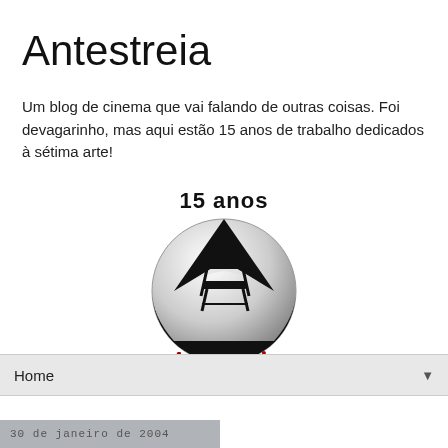Antestreia
Um blog de cinema que vai falando de outras coisas. Foi devagarinho, mas aqui estão 15 anos de trabalho dedicados à sétima arte!
[Figure (logo): Circular logo with a director's chair inside a black and white sphere, text '15 anos' above and 'Antestreia' in red script below]
Home
30 de janeiro de 2004